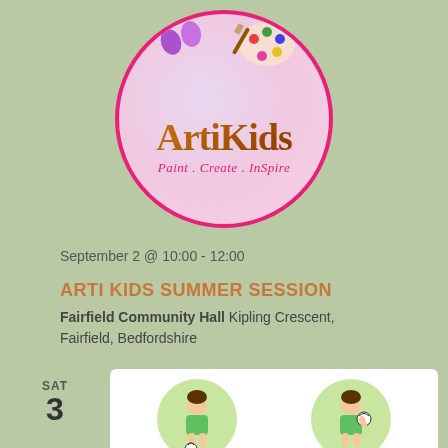[Figure (logo): ArtiKids logo — circular badge with pink border, pastel gradient interior, paint palette and footprints decorations, 'ArtiKids' in brown script, 'Paint . Create . InSpire' in red italic below]
September 2 @ 10:00 - 12:00
ARTI KIDS SUMMER SESSION
Fairfield Community Hall Kipling Crescent, Fairfield, Bedfordshire
SAT
3
[Figure (illustration): Two cartoon boys in green t-shirts inside green oval/circle backgrounds — one kicking a soccer ball on the left, one holding a ball on the right]